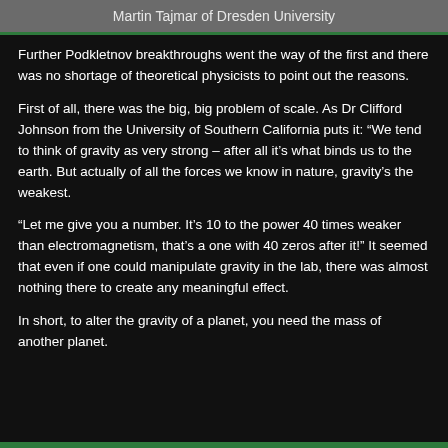Martin Tajmar of Dresden University
Further Podkletnov breakthroughs went the way of the first and there was no shortage of theoretical physicists to point out the reasons.
First of all, there was the big, big problem of scale. As Dr Clifford Johnson from the University of Southern California puts it: “We tend to think of gravity as very strong – after all it’s what binds us to the earth. But actually of all the forces we know in nature, gravity’s the weakest.
“Let me give you a number. It’s 10 to the power 40 times weaker than electromagnetism, that’s a one with 40 zeros after it!” It seemed that even if one could manipulate gravity in the lab, there was almost nothing there to create any meaningful effect.
In short, to alter the gravity of a planet, you need the mass of another planet.